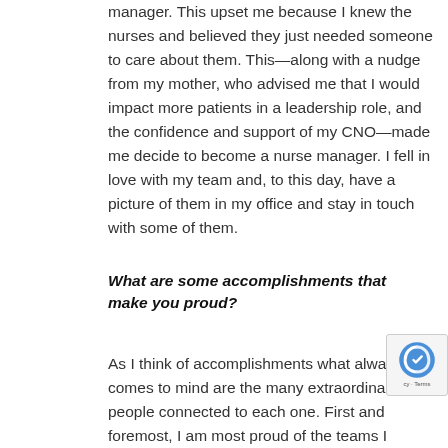manager. This upset me because I knew the nurses and believed they just needed someone to care about them. This—along with a nudge from my mother, who advised me that I would impact more patients in a leadership role, and the confidence and support of my CNO—made me decide to become a nurse manager. I fell in love with my team and, to this day, have a picture of them in my office and stay in touch with some of them.
What are some accomplishments that make you proud?
As I think of accomplishments what always comes to mind are the many extraordinary people connected to each one. First and foremost, I am most proud of the teams I